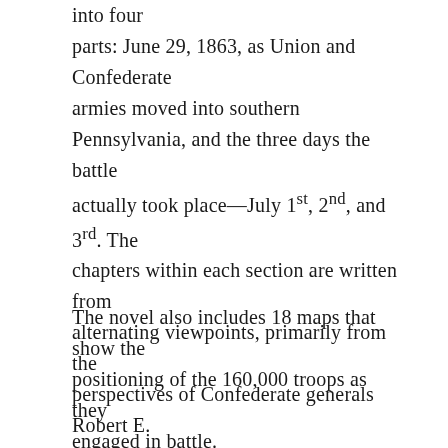into four parts: June 29, 1863, as Union and Confederate armies moved into southern Pennsylvania, and the three days the battle actually took place—July 1st, 2nd, and 3rd. The chapters within each section are written from alternating viewpoints, primarily from the perspectives of Confederate generals Robert E. Lee and James Longstreet and Union commanders Lawrence Chamberlain and John Buford.
The novel also includes 18 maps that show the positioning of the 160,000 troops as they engaged in battle.